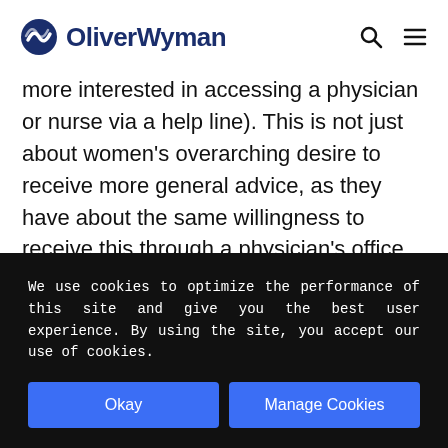OliverWyman
more interested in accessing a physician or nurse via a help line). This is not just about women's overarching desire to receive more general advice, as they have about the same willingness to receive this through a physician's office (only a three percent difference), implying traditional services are being received
We use cookies to optimize the performance of this site and give you the best user experience. By using the site, you accept our use of cookies.
Okay
Manage Cookies